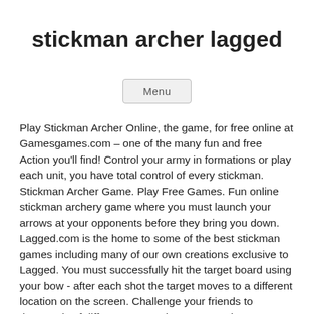stickman archer lagged
Menu
Play Stickman Archer Online, the game, for free online at Gamesgames.com – one of the many fun and free Action you'll find! Control your army in formations or play each unit, you have total control of every stickman. Stickman Archer Game. Play Free Games. Fun online stickman archery game where you must launch your arrows at your opponents before they bring you down. Lagged.com is the home to some of the best stickman games including many of our own creations exclusive to Lagged. You must successfully hit the target board using your bow - after each shot the target moves to a different location on the screen. Challenge your friends to thousands of different games that you can play on your pc, tablet or mobile device. Head, body, arms and legs are all your targets. Archery Target Practice Archery Target Practice. Use your best strategy to swing past any obstacles as you attempt to get your stickman hero to the finish line. Do you have what it takes to make each your shots count? If you want more titles like this, then check out Shootin' Buddies or Master Archer. Hold down your finger or mouse to increase the power bar while aiming your arrow towards each enemy. Drag and drop your finger for aiming and shooting. White Archer White Archer. It's similar to action-packed stick